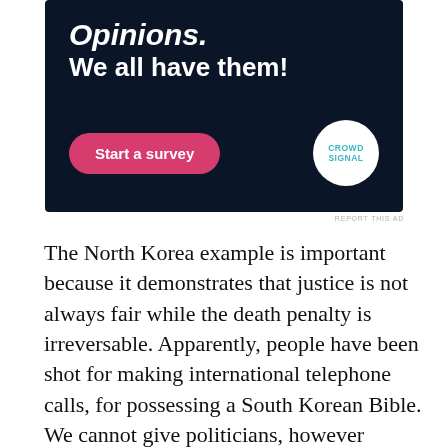[Figure (other): Advertisement banner with dark navy background. Large white italic text reads 'Opinions.' followed by bold white text 'We all have them!' A pink rounded button says 'Start a survey' and a white circular logo for 'Crowdsignal' appears at the bottom right.]
REPORT THIS AD
The North Korea example is important because it demonstrates that justice is not always fair while the death penalty is irreversable. Apparently, people have been shot for making international telephone calls, for possessing a South Korean Bible. We cannot give politicians, however successful they may or may not be at the ballot-box, or public opinion, however whipped up by the media it may become, the